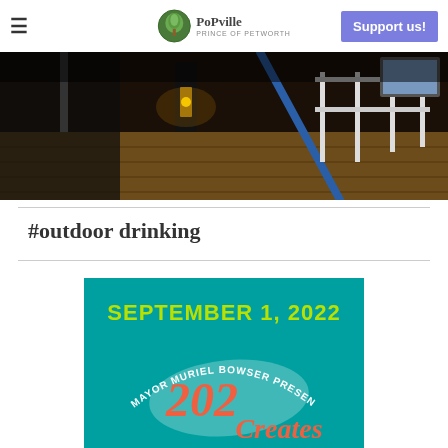≡  PoPville  Support us!
[Figure (photo): Outdoor restaurant deck/patio at night with lanterns and white railing chairs]
#outdoor drinking
[Figure (photo): Teal event poster reading SEPTEMBER 1, 2022 MAYOR MURIEL BOWSER PRESENTS 202 Creates]